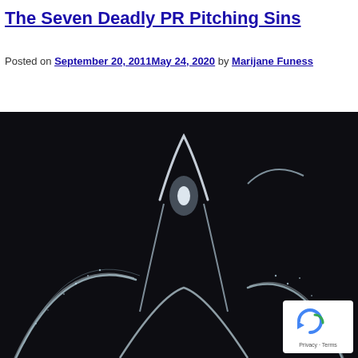The Seven Deadly PR Pitching Sins
Posted on September 20, 2011May 24, 2020 by Marijane Funess
[Figure (photo): Dark background photo of water fountains creating arc shapes with white glowing water streams against a near-black background. A reCAPTCHA badge with 'Privacy · Terms' text appears in the bottom-right corner of the image.]